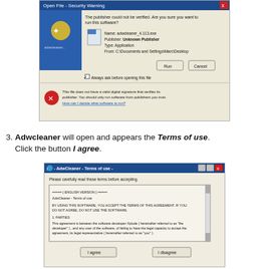[Figure (screenshot): Windows Open File Security Warning dialog showing 'The publisher could not be verified. Are you sure you want to run this software?' with adwcleaner_4.113.exe, Unknown Publisher, Application type, from C:\Documents and Settings\Marc\Desktop, with Run and Cancel buttons.]
3. Adwcleaner will open and appears the Terms of use. Click the button I agree.
[Figure (screenshot): AdwCleaner Terms of use dialog with ENGLISH VERSION text, AdwCleaner Terms of use, agreement text about Xplode developer, and I agree / I disagree buttons.]
4. Click Scan button to search malicious files installed by Cat Dog.